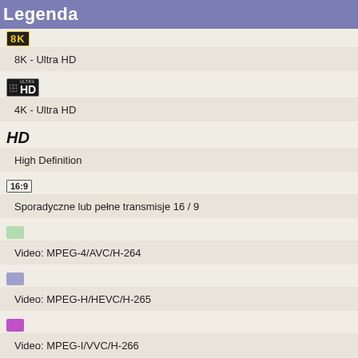Legenda
8K - Ultra HD
4K - Ultra HD
High Definition
Sporadyczne lub pełne transmisje 16 / 9
Video: MPEG-4/AVC/H-264
Video: MPEG-H/HEVC/H-265
Video: MPEG-I/VVC/H-266
FTA